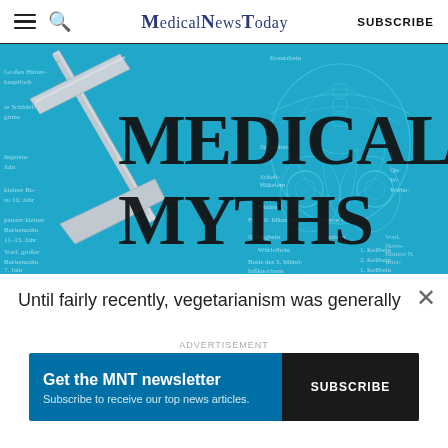MedicalNewsToday  SUBSCRIBE
[Figure (illustration): Blue background hero image with 'Medical Myths' text in large serif font, overlaid on an anatomical diagram of a pelvis with German labels, and a metallic caliper/measuring instrument on the left.]
Until fairly recently, vegetarianism was generally
[Figure (other): Advertisement banner: 'Get the MNT newsletter - Subscribe to receive our top news articles.' with a SUBSCRIBE button on dark background.]